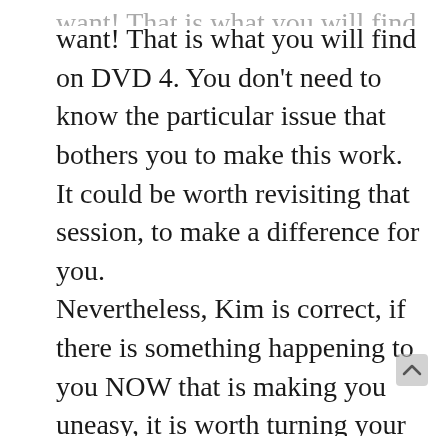want! That is what you will find on DVD 4. You don't need to know the particular issue that bothers you to make this work. It could be worth revisiting that session, to make a difference for you.
Nevertheless, Kim is correct, if there is something happening to you NOW that is making you uneasy, it is worth turning your attention to your life to explore what that might be, and taking action to resolve it. If it is threatening action or attacks by